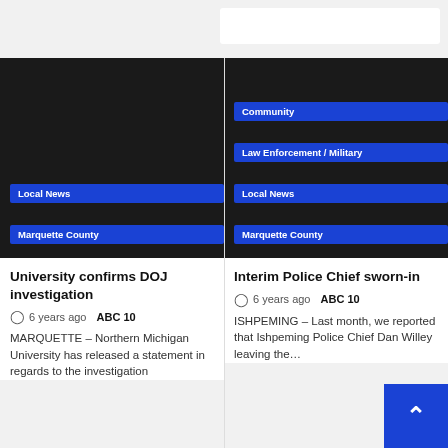[Figure (screenshot): Dark image placeholder for left news card — University confirms DOJ investigation]
Local News
Marquette County
University confirms DOJ investigation
6 years ago  ABC 10
MARQUETTE – Northern Michigan University has released a statement in regards to the investigation
[Figure (screenshot): Dark image placeholder for right news card — Interim Police Chief sworn-in with tags Community, Law Enforcement / Military, Local News, Marquette County]
Community
Law Enforcement / Military
Local News
Marquette County
Interim Police Chief sworn-in
6 years ago  ABC 10
ISHPEMING – Last month, we reported that Ishpeming Police Chief Dan Willey leaving the…